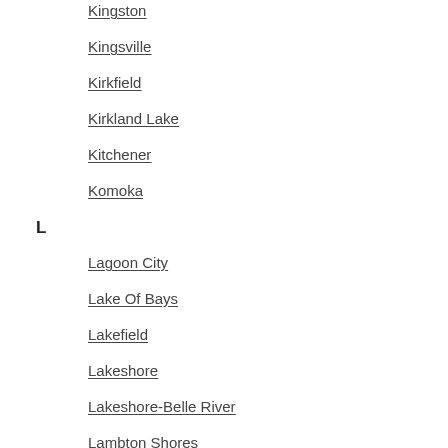Kingston
Kingsville
Kirkfield
Kirkland Lake
Kitchener
Komoka
L
Lagoon City
Lake Of Bays
Lakefield
Lakeshore
Lakeshore-Belle River
Lambton Shores
Lanark
Lanark Highlands
Lancaster